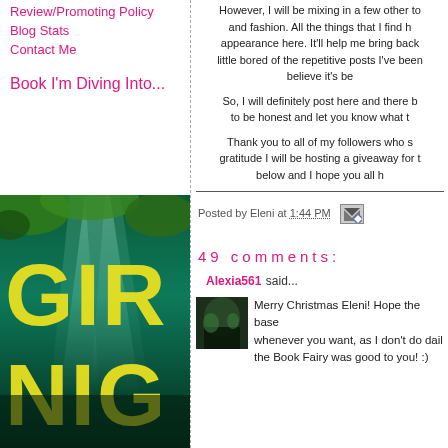Review/Promoting Policy
Blog Stats
Contact Me
Book I'm Diving Into...
[Figure (photo): Book cover showing underwater scene with large yellow letters GIR... NIG... visible, teal water with light rays]
However, I will be mixing in a few other to and fashion. All the things that I find h appearance here. It'll help me bring back little bored of the repetitive posts I've been believe it's be
So, I will definitely post here and there b to be honest and let you know what t
Thank you to all of my followers who s gratitude I will be hosting a giveaway for t below and I hope you all h
Posted by Eleni at 1:44 PM
49 comments:
Alexia561 said...
Merry Christmas Eleni! Hope the base whenever you want, as I don't do dail the Book Fairy was good to you! :)